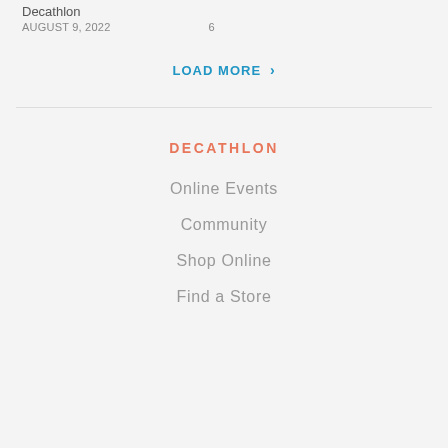Decathlon
AUGUST 9, 2022    6
LOAD MORE >
DECATHLON
Online Events
Community
Shop Online
Find a Store